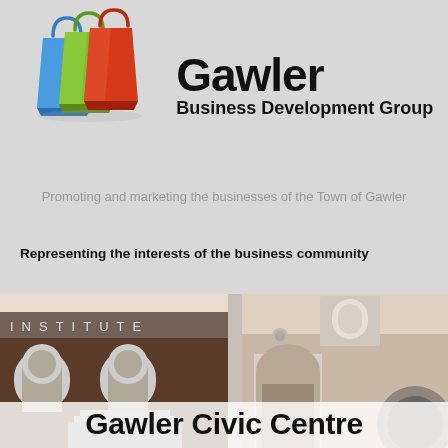[Figure (logo): Gawler Business Development Group logo with shopping bags (blue, green, red) and text 'Gawler Business Development Group']
Promoting and marketing the businesses of the Town of Gawler
Representing the interests of the business community
[Figure (illustration): Architectural rendering of the Gawler Civic Centre showing a heritage building facade with 'INSTITUTE' text, arched windows, columns and ornamental details]
Gawler Civic Centre